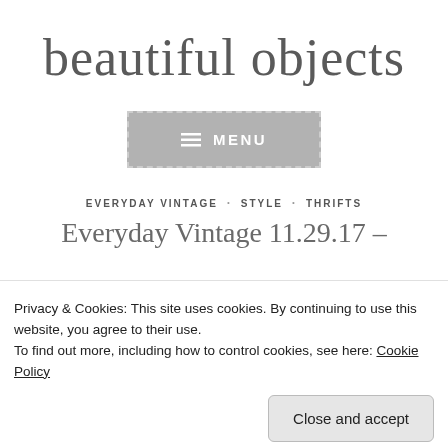beautiful objects
[Figure (other): Menu button with hamburger icon and dashed border, labeled MENU]
EVERYDAY VINTAGE · STYLE · THRIFTS
Everyday Vintage 11.29.17 –
Privacy & Cookies: This site uses cookies. By continuing to use this website, you agree to their use.
To find out more, including how to control cookies, see here: Cookie Policy
Close and accept
of how I incorporate vintage finds into my everyday life